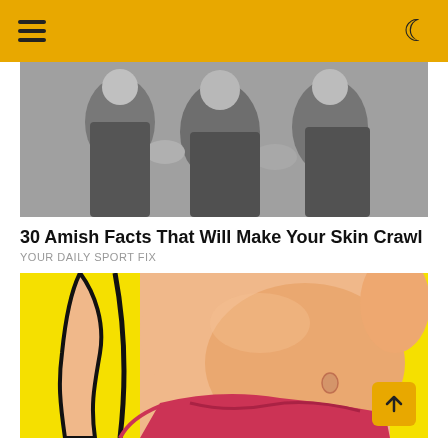navigation bar with hamburger menu and moon/dark mode icon
[Figure (photo): Black and white photo of people, appears to show Amish individuals.]
30 Amish Facts That Will Make Your Skin Crawl
YOUR DAILY SPORT FIX
[Figure (illustration): Colorful illustration on yellow background showing a woman's midsection in a bikini bottom, depicting before/after body comparison.]